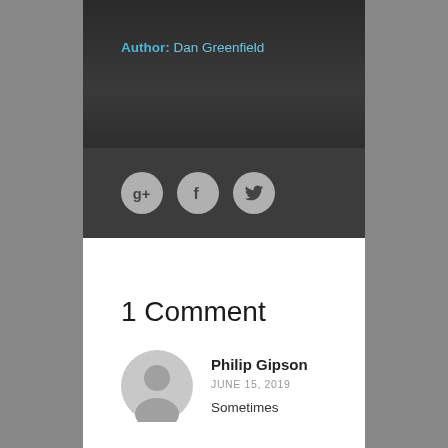Author: Dan Greenfield
[Figure (infographic): Social media share buttons: Google+, Facebook, Twitter]
1 Comment
Philip Gipson
JUNE 15, 2019
Sometimes